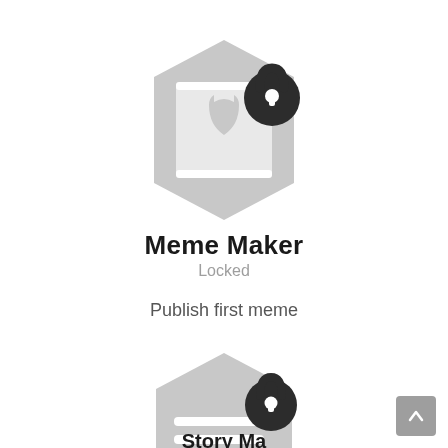[Figure (illustration): Hexagon badge icon in light gray with a cat/image icon inside and a dark padlock overlay in upper right]
Meme Maker
Locked
Publish first meme
[Figure (illustration): Hexagon badge icon in light gray with horizontal lines (list/document icon) inside and a dark padlock overlay in upper right]
Story Ma...